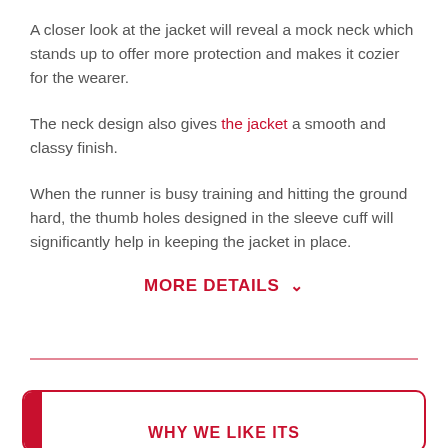A closer look at the jacket will reveal a mock neck which stands up to offer more protection and makes it cozier for the wearer.
The neck design also gives the jacket a smooth and classy finish.
When the runner is busy training and hitting the ground hard, the thumb holes designed in the sleeve cuff will significantly help in keeping the jacket in place.
MORE DETAILS
WHY WE LIKE ITS